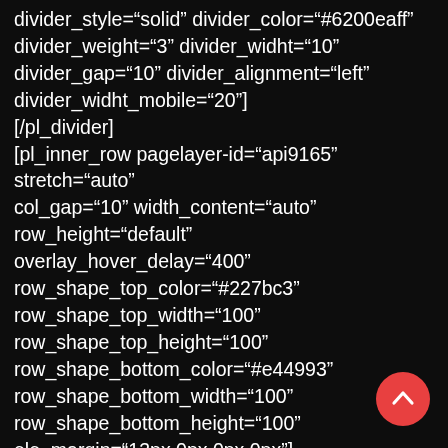divider_style="solid" divider_color="#6200eaff"
divider_weight="3" divider_widht="10"
divider_gap="10" divider_alignment="left"
divider_widht_mobile="20"]
[/pl_divider]
[pl_inner_row pagelayer-id="api9165" stretch="auto"
col_gap="10" width_content="auto"
row_height="default" overlay_hover_delay="400"
row_shape_top_color="#227bc3"
row_shape_top_width="100"
row_shape_top_height="100"
row_shape_bottom_color="#e44993"
row_shape_bottom_width="100"
row_shape_bottom_height="100"
ele_margin="13px,0px,0px,0px"]
[pl_inner_col pagelayer-id="kuy6839"
[Figure (other): Red circular floating action button with upward chevron arrow icon]